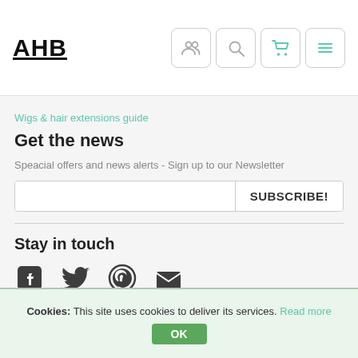AHB
Wigs & hair extensions guide
Get the news
Speacial offers and news alerts - Sign up to our Newsletter
SUBSCRIBE!
Stay in touch
[Figure (other): Social media icons: Facebook, Twitter, Pinterest, Email]
Cookies: This site uses cookies to deliver its services. Read more
OK